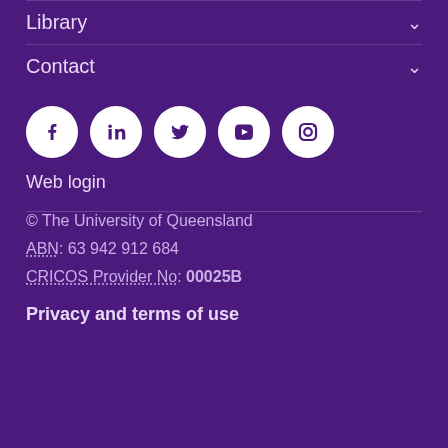Library
Contact
[Figure (illustration): Row of five social media icons in white circles on purple background: Facebook, LinkedIn, Twitter, YouTube, Instagram]
Web login
© The University of Queensland
ABN: 63 942 912 684
CRICOS Provider No: 00025B
Privacy and terms of use